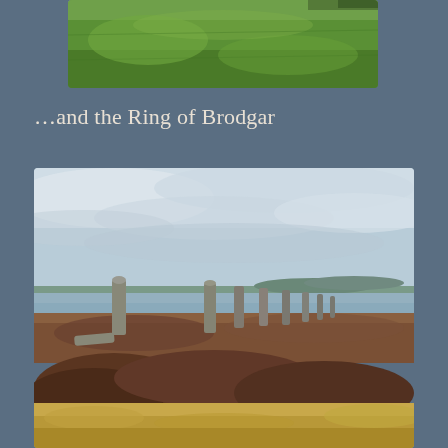[Figure (photo): Aerial or wide-angle view of a green grassy field, likely at a historic site in Orkney, Scotland. The grass is lush green with a flat landscape.]
…and the Ring of Brodgar
[Figure (photo): Photo of the Ring of Brodgar standing stones in Orkney, Scotland. Several tall ancient standing stones are visible against a cloudy sky, with a loch and distant hills in the background. The foreground shows heather and grassland.]